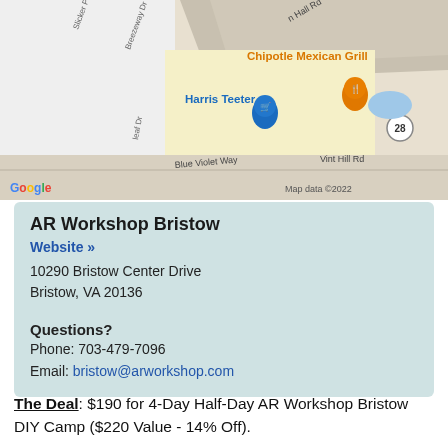[Figure (map): Google Maps screenshot showing the area around Vint Hill Rd with Harris Teeter and Chipotle Mexican Grill marked. Street labels include Blue Violet Way, Vint Hill Rd, Breezeway Dr, and road 28. Google logo and 'Map data ©2022' visible.]
AR Workshop Bristow
Website »
10290 Bristow Center Drive
Brisow, VA 20136

Questions?
Phone: 703-479-7096
Email: bristow@arworkshop.com
The Deal: $190 for 4-Day Half-Day AR Workshop Bristow DIY Camp ($220 Value - 14% Off).